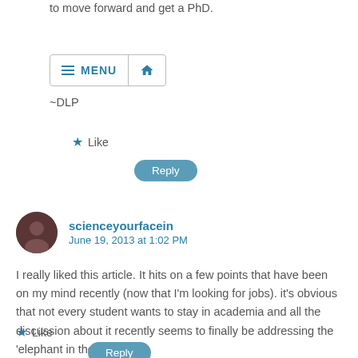to move forward and get a PhD.
[Figure (screenshot): Navigation menu bar with hamburger menu icon labeled MENU and a home icon]
~DLP
Like
Reply
scienceyourfacein
June 19, 2013 at 1:02 PM
I really liked this article. It hits on a few points that have been on my mind recently (now that I'm looking for jobs). it's obvious that not every student wants to stay in academia and all the discussion about it recently seems to finally be addressing the 'elephant in the room'.
Like
Reply